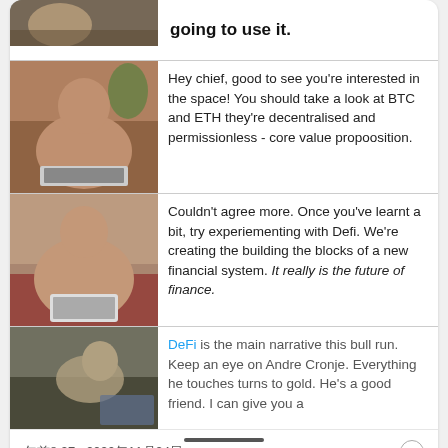[Figure (screenshot): Twitter thread screenshot with multiple meme-style chat rows. Row 1 (cropped): image of person at desk, text 'going to use it.' Row 2: muscular man at laptop, text about BTC and ETH being decentralised and permissionless. Row 3: muscular man with tablet, text about DeFi and building blocks of new financial system. Row 4: person hunched at desk, text about DeFi being main narrative.]
午前8:27 · 2020年11月24日
17  返信  共有する
🐦 Twitter で見る・その他のオプション